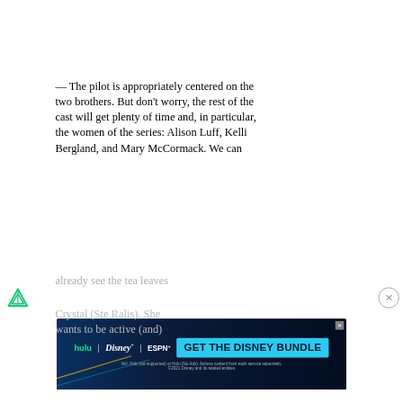— The pilot is appropriately centered on the two brothers. But don't worry, the rest of the cast will get plenty of time and, in particular, the women of the series: Alison Luff, Kelli Bergland, and Mary McCormack. We can
already see the tea leaves
[Figure (logo): Freeform channel icon — green triangular arrow logo]
[Figure (screenshot): Advertisement banner: GET THE DISNEY BUNDLE — Hulu, Disney+, ESPN+ logos with fine print about Hulu ad-supported or Hulu No Ads access content from each service separately. ©2021 Disney and its related entities.]
Crystal (Ste Ralis). She wants to be active (and)